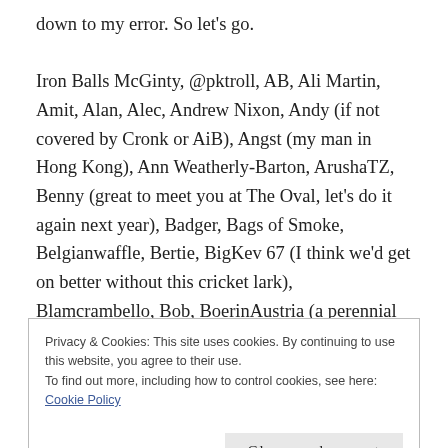down to my error. So let's go.
Iron Balls McGinty, @pktroll, AB, Ali Martin, Amit, Alan, Alec, Andrew Nixon, Andy (if not covered by Cronk or AiB), Angst (my man in Hong Kong), Ann Weatherly-Barton, ArushaTZ, Benny (great to meet you at The Oval, let's do it again next year), Badger, Bags of Smoke, Belgianwaffle, Bertie, BigKev 67 (I think we'd get on better without this cricket lark), Blamcrambello, Bob, BoerinAustria (a perennial star here – thanks for the support over the last year and a half), Boz (hope you are
Privacy & Cookies: This site uses cookies. By continuing to use this website, you agree to their use.
To find out more, including how to control cookies, see here: Cookie Policy
Close and accept
(partial bottom text)